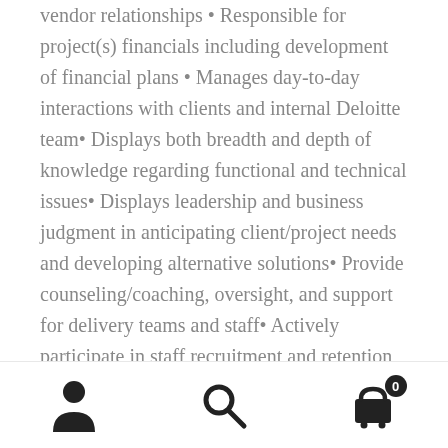vendor relationships • Responsible for project(s) financials including development of financial plans • Manages day-to-day interactions with clients and internal Deloitte team• Displays both breadth and depth of knowledge regarding functional and technical issues• Displays leadership and business judgment in anticipating client/project needs and developing alternative solutions• Provide counseling/coaching, oversight, and support for delivery teams and staff• Actively participate in staff recruitment and retention activities providing input and guidance into the staffing processThe TeamTransparency, innovation, collaboration, sustainability: these are the hallmark issues shaping GPS government initiatives today. Deloitte's GPS practice is passionate about making an impact with lasting change. Carrying out missions in the GPS practice requires
[Figure (other): Bottom navigation bar with three icons: person/user icon, search/magnifying glass icon, and shopping cart icon with badge showing 0]